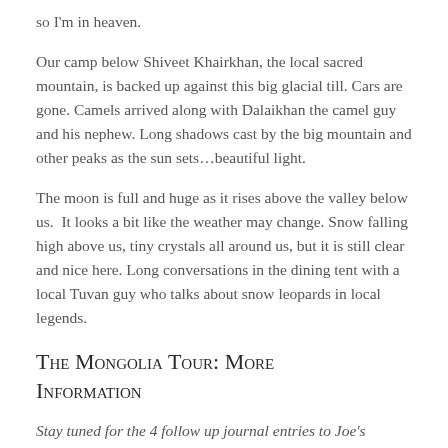so I'm in heaven.
Our camp below Shiveet Khairkhan, the local sacred mountain, is backed up against this big glacial till. Cars are gone. Camels arrived along with Dalaikhan the camel guy and his nephew. Long shadows cast by the big mountain and other peaks as the sun sets…beautiful light.
The moon is full and huge as it rises above the valley below us.  It looks a bit like the weather may change. Snow falling high above us, tiny crystals all around us, but it is still clear and nice here. Long conversations in the dining tent with a local Tuvan guy who talks about snow leopards in local legends.
The Mongolia Tour: More Information
Stay tuned for the 4 follow up journal entries to Joe's Mongolia tour! For more information on Rohde's incredible travels and his quest for the snow leopard, tune in to his personal blog or his Facebook page.